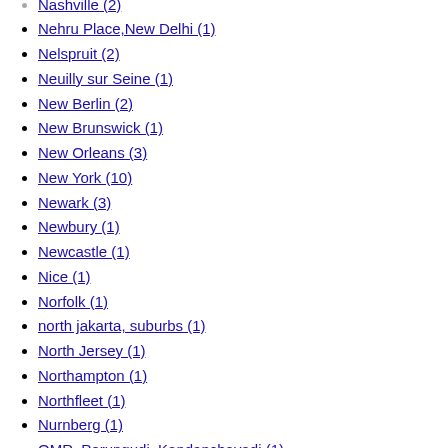Nehru Place,New Delhi (1)
Nelspruit (2)
Neuilly sur Seine (1)
New Berlin (2)
New Brunswick (1)
New Orleans (3)
New York (10)
Newark (3)
Newbury (1)
Newcastle (1)
Nice (1)
Norfolk (1)
north jakarta, suburbs (1)
North Jersey (1)
Northampton (1)
Northfleet (1)
Nurnberg (1)
OMR, Perungudi, Kandanchavadi (1)
Orlando (2)
Orly (2)
Oslo (5)
Ottawa (1)
Overland Park (2)
Oxford (1)
Palo Alto (2)